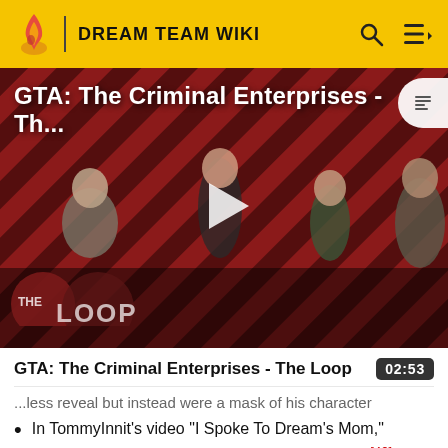DREAM TEAM WIKI
[Figure (screenshot): GTA: The Criminal Enterprises - The Loop video thumbnail showing game characters on a red diagonal striped background with THE LOOP logo and a play button overlay]
GTA: The Criminal Enterprises - The Loop  02:53
...less reveal but instead were a mask of his character
In TommyInnit's video "I Spoke To Dream's Mom," Dream's mother can be heard talking to Tommy.[40] In the video, Dream also states that he met his friends